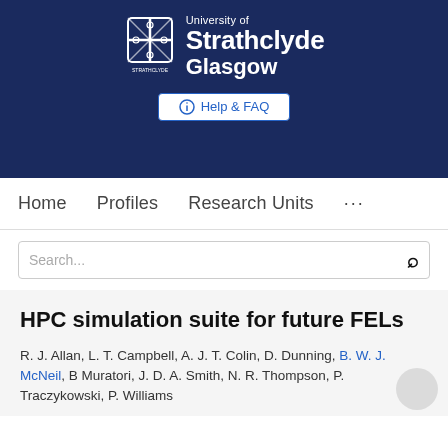[Figure (logo): University of Strathclyde Glasgow logo with crest on dark navy blue background, with Help & FAQ button]
Home   Profiles   Research Units   ...
Search...
HPC simulation suite for future FELs
R. J. Allan, L. T. Campbell, A. J. T. Colin, D. Dunning, B. W. J. McNeil, B Muratori, J. D. A. Smith, N. R. Thompson, P. Traczykowski, P. Williams